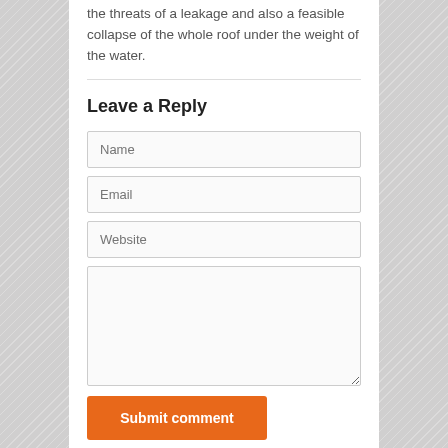the threats of a leakage and also a feasible collapse of the whole roof under the weight of the water.
Leave a Reply